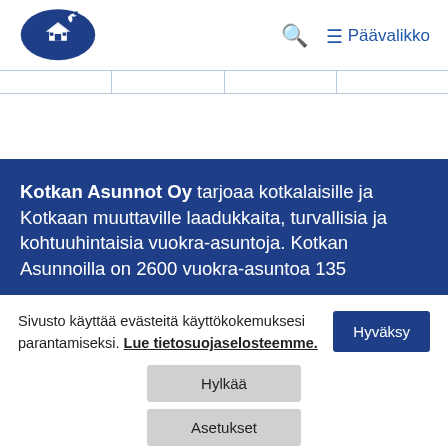[Figure (logo): Kotkan Asunnot Oy logo — a blue oval with a stylized house and bird motif]
🔍  ≡ Päävalikko
Kotkan Asunnot Oy tarjoaa kotkalaisille ja Kotkaan muuttaville laadukkaita, turvallisia ja kohtuuhintaisia vuokra-asuntoja. Kotkan Asunnoilla on 2600 vuokra-asuntoa 135
Sivusto käyttää evästeitä käyttökokemuksesi parantamiseksi. Lue tietosuojaselosteemme.
Hyväksy
Hylkää
Asetukset